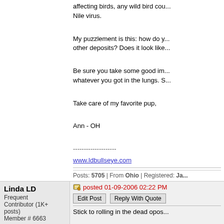affecting birds, any wild bird cou... Nile virus.
My puzzlement is this: how do y... other deposits? Does it look like...
Be sure you take some good im... whatever you got in the lungs. S...
Take care of my favorite pup,
Ann - OH
--------------------
www.ldbullseye.com
Posts: 5705 | From Ohio | Registered: Ja...
Linda LD
Frequent Contributor (1K+ posts)
Member # 6663
posted 01-09-2006 02:22 PM
Edit Post  Reply With Quote
Stick to rolling in the dead opos...
L
Posts: 1171 | From Knoxville, TN US | R...
Report Post
MADDOG
Frequent Contributor (1K+...
posted 01-09-2006 08:29 PM
Edit Post  Reply With Quote